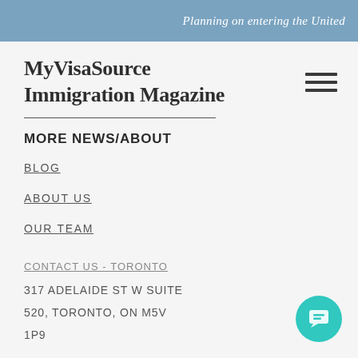Planning on entering the United
MyVisaSource Immigration Magazine
MORE NEWS/ABOUT
BLOG
ABOUT US
OUR TEAM
CONTACT US - TORONTO
317 ADELAIDE ST W SUITE
520, TORONTO, ON M5V
1P9